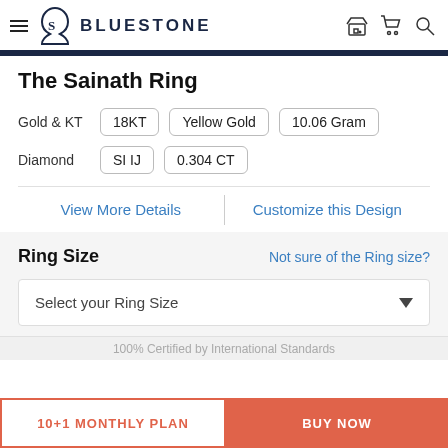BLUESTONE
The Sainath Ring
Gold & KT  18KT  Yellow Gold  10.06 Gram
Diamond  SI IJ  0.304 CT
View More Details
Customize this Design
Ring Size
Not sure of the Ring size?
Select your Ring Size
100% Certified by International Standards
10+1 MONTHLY PLAN
BUY NOW